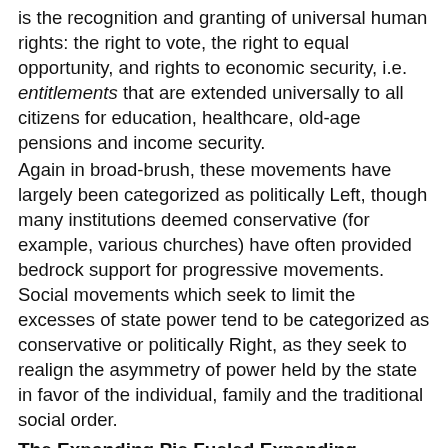is the recognition and granting of universal human rights: the right to vote, the right to equal opportunity, and rights to economic security, i.e. entitlements that are extended universally to all citizens for education, healthcare, old-age pensions and income security.
Again in broad-brush, these movements have largely been categorized as politically Left, though many institutions deemed conservative (for example, various churches) have often provided bedrock support for progressive movements. Social movements which seek to limit the excesses of state power tend to be categorized as conservative or politically Right, as they seek to realign the asymmetry of power held by the state in favor of the individual, family and the traditional social order.
The Expanding Pie Fueled Expanding Entitlements
Writer Ugo Bardi recently drew another distinction between Left and Right social movements: “Traditionally, the Left has emphasized rights while the Right has emphasized duties.” As rights manifested as economic entitlements rather than political (civil liberty) entitlements, rights accrue economic costs. As Bardi observes: “Having rights is nicer than having duties, but the problem is that human rights have a cost and